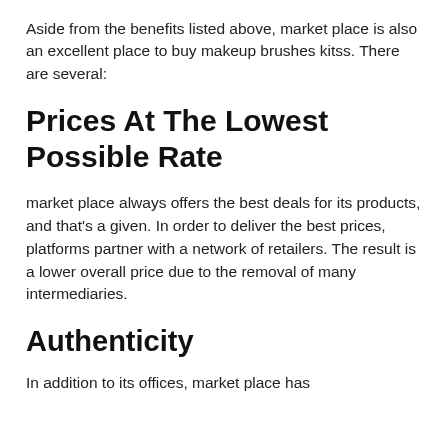Aside from the benefits listed above, market place is also an excellent place to buy makeup brushes kitss. There are several:
Prices At The Lowest Possible Rate
market place always offers the best deals for its products, and that's a given. In order to deliver the best prices, platforms partner with a network of retailers. The result is a lower overall price due to the removal of many intermediaries.
Authenticity
In addition to its offices, market place has